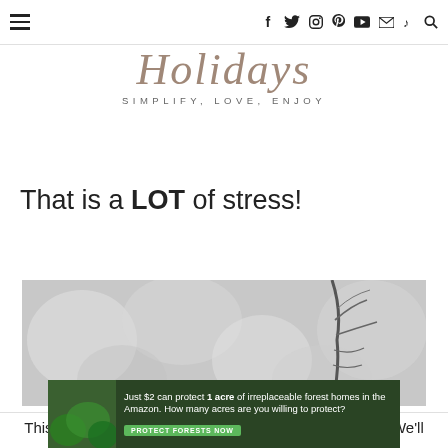≡   f  twitter  instagram  pinterest  youtube  mail  tiktok  search
Holidays — SIMPLIFY, LOVE, ENJOY
That is a LOT of stress!
[Figure (photo): Black and white photograph of a bare tree branch against a blurred bokeh background]
This website uses cookies to improve your experience. We'll
[Figure (infographic): Green advertisement banner reading: Just $2 can protect 1 acre of irreplaceable forest homes in the Amazon. How many acres are you willing to protect? PROTECT FORESTS NOW]